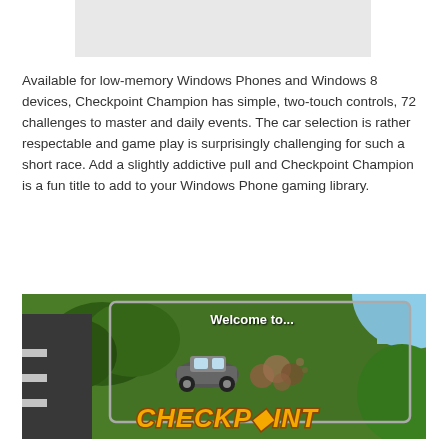[Figure (screenshot): Gray placeholder image at top of page]
Available for low-memory Windows Phones and Windows 8 devices, Checkpoint Champion has simple, two-touch controls, 72 challenges to master and daily events. The car selection is rather respectable and game play is surprisingly challenging for such a short race. Add a slightly addictive pull and Checkpoint Champion is a fun title to add to your Windows Phone gaming library.
[Figure (screenshot): Game screenshot showing 'Welcome to... CHECKPOINT' title screen with a car graphic on a green racing background]